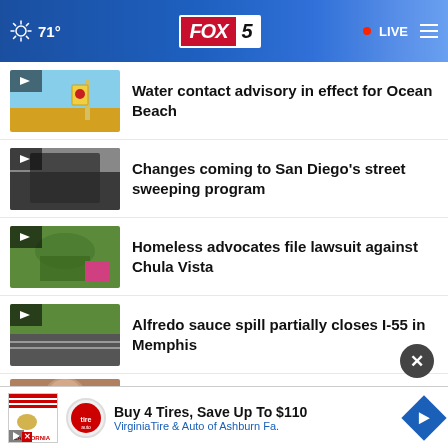71° FOX 5 LIVE
Water contact advisory in effect for Ocean Beach
Changes coming to San Diego's street sweeping program
Homeless advocates file lawsuit against Chula Vista
Alfredo sauce spill partially closes I-55 in Memphis
Jacumba Hot Springs proposed placement of SVP
Buy 4 Tires, Save Up To $110 VirginiaTire & Auto of Ashburn Fa.